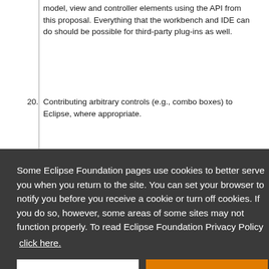model, view and controller elements using the API from this proposal. Everything that the workbench and IDE can do should be possible for third-party plug-ins as well.
20. Contributing arbitrary controls (e.g., combo boxes) to Eclipse, where appropriate.
Some Eclipse Foundation pages use cookies to better serve you when you return to the site. You can set your browser to notify you before you receive a cookie or turn off cookies. If you do so, however, some areas of some sites may not function properly. To read Eclipse Foundation Privacy Policy click here.
Decline | Allow cookies
semantic boundaries to further enforce matters, there were action delegates. Action delegates were not